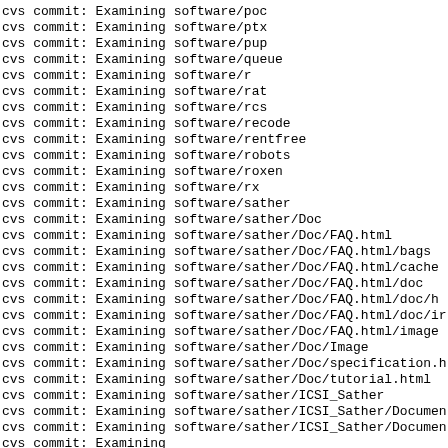cvs commit: Examining software/poc
cvs commit: Examining software/ptx
cvs commit: Examining software/pup
cvs commit: Examining software/queue
cvs commit: Examining software/r
cvs commit: Examining software/rat
cvs commit: Examining software/rcs
cvs commit: Examining software/recode
cvs commit: Examining software/rentfree
cvs commit: Examining software/robots
cvs commit: Examining software/roxen
cvs commit: Examining software/rx
cvs commit: Examining software/sather
cvs commit: Examining software/sather/Doc
cvs commit: Examining software/sather/Doc/FAQ.html
cvs commit: Examining software/sather/Doc/FAQ.html/bags
cvs commit: Examining software/sather/Doc/FAQ.html/cache
cvs commit: Examining software/sather/Doc/FAQ.html/doc
cvs commit: Examining software/sather/Doc/FAQ.html/doc/ht
cvs commit: Examining software/sather/Doc/FAQ.html/doc/ir
cvs commit: Examining software/sather/Doc/FAQ.html/image
cvs commit: Examining software/sather/Doc/Image
cvs commit: Examining software/sather/Doc/specification.h
cvs commit: Examining software/sather/Doc/tutorial.html
cvs commit: Examining software/sather/ICSI_Sather
cvs commit: Examining software/sather/ICSI_Sather/Documen
cvs commit: Examining software/sather/ICSI_Sather/Documen
cvs commit: Examining
software/sather/ICSI_Sather/Documentation/Compiler/Compil
cvs commit: Examining software/sather/ICSI_Sather/Documen